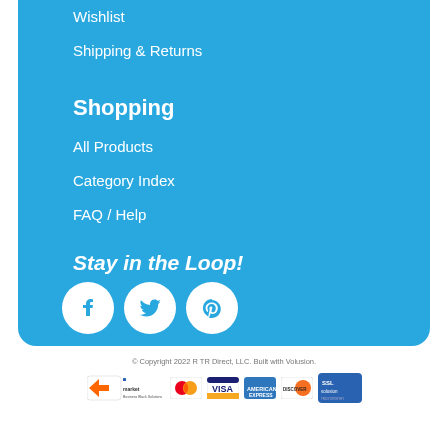Wishlist
Shipping & Returns
Shopping
All Products
Category Index
FAQ / Help
Stay in the Loop!
[Figure (infographic): Three circular social media icons: Facebook, Twitter, Pinterest — white icons on blue background circle]
© Copyright 2022 R TR Direct, LLC. Built with Volusion.
[Figure (infographic): Payment logos: PS market, Mastercard, Visa, American Express, Discover, SSL Volusion]